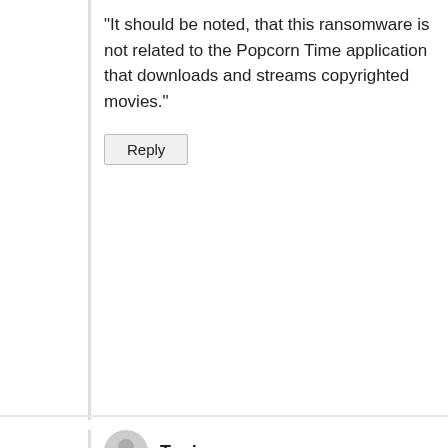"It should be noted, that this ransomware is not related to the Popcorn Time application that downloads and streams copyrighted movies."
Reply
Topiux
December 16, 2016 at 2:56 am
ElevenPaths discovers the Popcorn ransomware passwords: no need to infect other people to decrypt for free http://blog.elevenpaths.com/2016/12/elevenpaths-discovers-popcorn.html
Reply